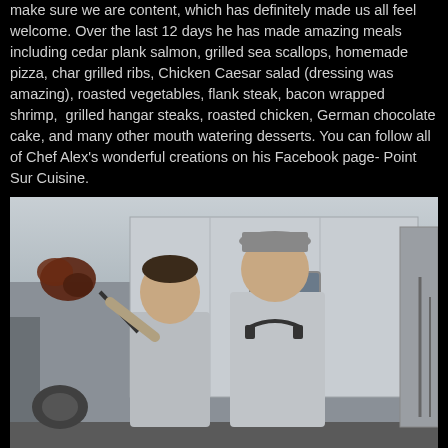make sure we are content, which has definitely made us all feel welcome. Over the last 12 days he has made amazing meals including cedar plank salmon, grilled sea scallops, homemade pizza, char grilled ribs, Chicken Caesar salad (dressing was amazing), roasted vegetables, flank steak, bacon wrapped shrimp, grilled hangar steaks, roasted chicken, German chocolate cake, and many other mouth watering desserts. You can follow all of Chef Alex's wonderful creations on his Facebook page- Point Sur Cuisine.
[Figure (photo): Two men standing on the deck of a ship in front of a white laboratory/trailer structure. The man on the left holds up what appears to be a large piece of grilled meat on a stick. The man on the right is wearing a baseball cap and headphones around his neck. Text on the ship structure reads 'SC LABO' (partially visible).]